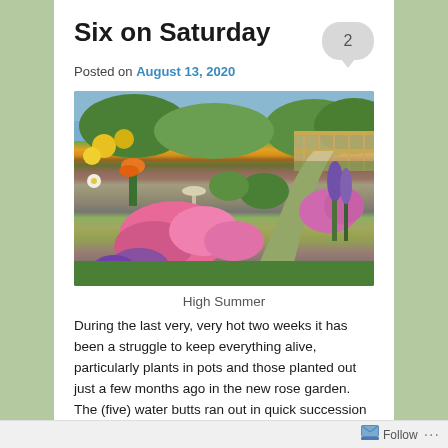Six on Saturday
Posted on August 13, 2020
[Figure (photo): Garden path lined with colorful summer flowers including yellow, orange, pink, and purple blooms, with a birdbath visible and a wooden fence in the background under a blue sky.]
High Summer
During the last very, very hot two weeks it has been a struggle to keep everything alive, particularly plants in pots and those planted out just a few months ago in the new rose garden. The (five) water butts ran out in quick succession and I had to resort to the